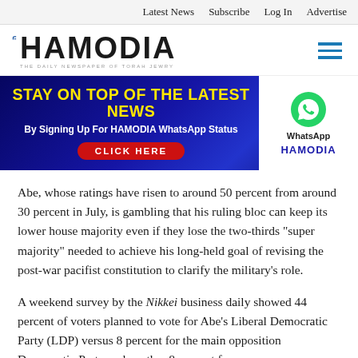Latest News  Subscribe  Log In  Advertise
[Figure (logo): Hamodia newspaper logo with Hebrew letter and tagline 'The Daily Newspaper of Torah Jewry']
[Figure (infographic): Advertisement banner: 'STAY ON TOP OF THE LATEST NEWS By Signing Up For HAMODIA WhatsApp Status CLICK HERE' with WhatsApp logo and HAMODIA branding on white right panel]
Abe, whose ratings have risen to around 50 percent from around 30 percent in July, is gambling that his ruling bloc can keep its lower house majority even if they lose the two-thirds "super majority" needed to achieve his long-held goal of revising the post-war pacifist constitution to clarify the military's role.
A weekend survey by the Nikkei business daily showed 44 percent of voters planned to vote for Abe's Liberal Democratic Party (LDP) versus 8 percent for the main opposition Democratic Party and another 8 percent for a